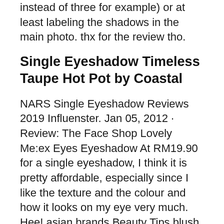instead of three for example) or at least labeling the shadows in the main photo. thx for the review tho.
Single Eyeshadow Timeless Taupe Hot Pot by Coastal
NARS Single Eyeshadow Reviews 2019 Influenster. Jan 05, 2012 · Review: The Face Shop Lovely Me:ex Eyes Eyeshadow At RM19.90 for a single eyeshadow, I think it is pretty affordable, especially since I like the texture and the colour and how it looks on my eye very much. Hee! asian brands Beauty Tips blush body butter body care body lotion budget Contact Lens DIY EOTD eye makeup eye shadow